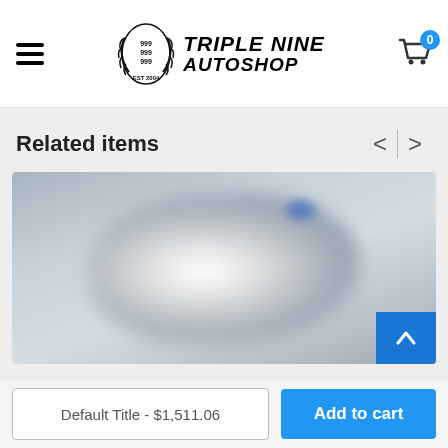Triple Nine Autoshop — EST 2004
Related items
[Figure (photo): Blurred product image of a turbocharger or auto part on a gray background]
Default Title - $1,511.06
Add to cart